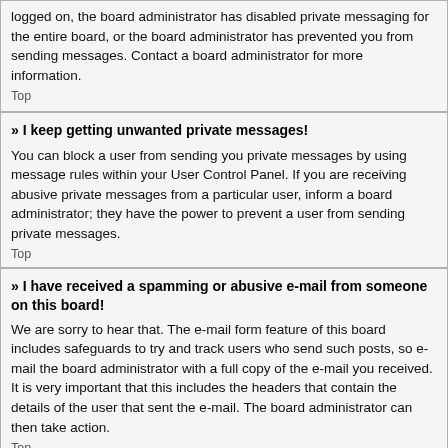logged on, the board administrator has disabled private messaging for the entire board, or the board administrator has prevented you from sending messages. Contact a board administrator for more information.
Top
» I keep getting unwanted private messages!
You can block a user from sending you private messages by using message rules within your User Control Panel. If you are receiving abusive private messages from a particular user, inform a board administrator; they have the power to prevent a user from sending private messages.
Top
» I have received a spamming or abusive e-mail from someone on this board!
We are sorry to hear that. The e-mail form feature of this board includes safeguards to try and track users who send such posts, so e-mail the board administrator with a full copy of the e-mail you received. It is very important that this includes the headers that contain the details of the user that sent the e-mail. The board administrator can then take action.
Top
Friends and Foes
» What are my Friends and Foes lists?